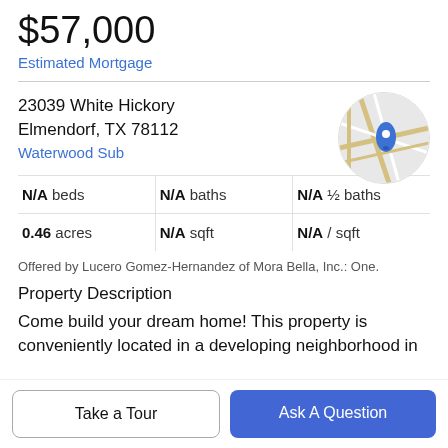$57,000
Estimated Mortgage
23039 White Hickory
Elmendorf, TX 78112
Waterwood Sub
[Figure (map): Circular map thumbnail showing street map with blue location pin marker]
| Beds | Baths | ½ Baths |
| --- | --- | --- |
| N/A beds | N/A baths | N/A ½ baths |
| 0.46 acres | N/A sqft | N/A / sqft |
Offered by Lucero Gomez-Hernandez of Mora Bella, Inc.: One.
Property Description
Come build your dream home! This property is conveniently located in a developing neighborhood in
Take a Tour
Ask A Question